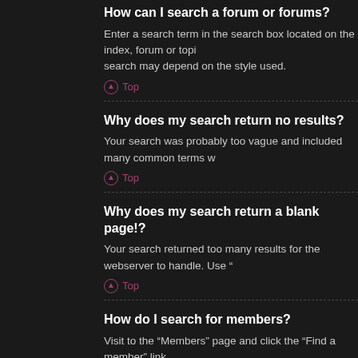How can I search a forum or forums?
Enter a search term in the search box located on the index, forum or topic pages. Advanced search may depend on the style used.
Top
Why does my search return no results?
Your search was probably too vague and included many common terms w
Top
Why does my search return a blank page!?
Your search returned too many results for the webserver to handle. Use "
Top
How do I search for members?
Visit to the “Members” page and click the “Find a member” link.
Top
How can I find my own posts and topics?
Your own posts can be retrieved either by clicking the “Search user’s pos appropriately.
Top
Topic Subscriptions and Bookmarks